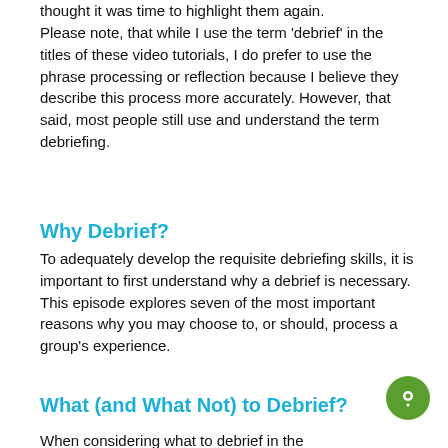thought it was time to highlight them again.
Please note, that while I use the term ‘debrief’ in the titles of these video tutorials, I do prefer to use the phrase processing or reflection because I believe they describe this process more accurately. However, that said, most people still use and understand the term debriefing.
Why Debrief?
To adequately develop the requisite debriefing skills, it is important to first understand why a debrief is necessary. This episode explores seven of the most important reasons why you may choose to, or should, process a group’s experience.
What (and What Not) to Debrief?
When considering what to debrief in the